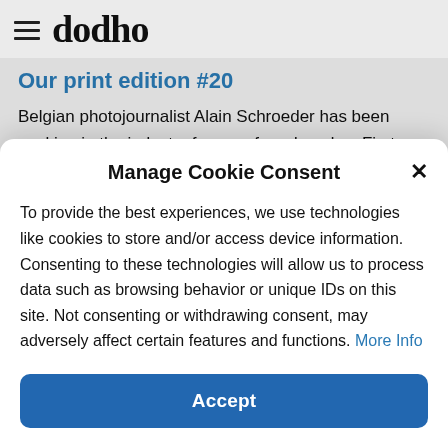[Figure (logo): Dodho magazine logo with hamburger menu icon on the left and handwritten-style 'dodho' text]
Our print edition #20
Belgian photojournalist Alain Schroeder has been working in the industry for over four decades. First as a sports photographer in the 80s, then shooting book assignments and editorial pieces in art, culture and human stories.
Manage Cookie Consent
To provide the best experiences, we use technologies like cookies to store and/or access device information. Consenting to these technologies will allow us to process data such as browsing behavior or unique IDs on this site. Not consenting or withdrawing consent, may adversely affect certain features and functions. More Info